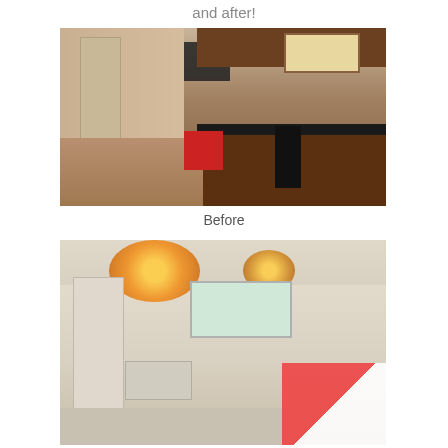and after!
[Figure (photo): Before photo of a kitchen interior showing dark wood cabinets, tiled floor, black chairs, and photo frames on a beige wall]
Before
[Figure (photo): After photo of a room interior with two decorative globe chandeliers, a window, white door, radiator, and a red and white striped tent in the corner]